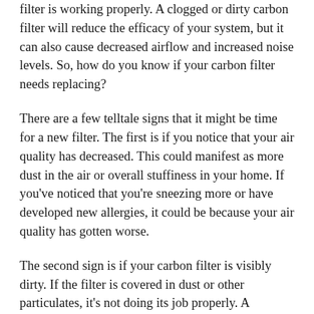filter is working properly. A clogged or dirty carbon filter will reduce the efficacy of your system, but it can also cause decreased airflow and increased noise levels. So, how do you know if your carbon filter needs replacing?
There are a few telltale signs that it might be time for a new filter. The first is if you notice that your air quality has decreased. This could manifest as more dust in the air or overall stuffiness in your home. If you’ve noticed that you’re sneezing more or have developed new allergies, it could be because your air quality has gotten worse.
The second sign is if your carbon filter is visibly dirty. If the filter is covered in dust or other particulates, it’s not doing its job properly. A